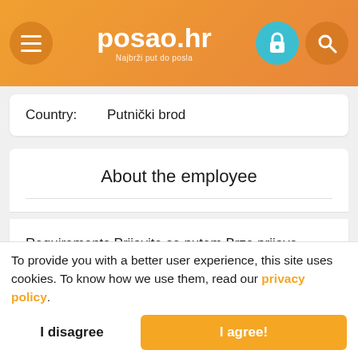posao.hr — Najbrži put do posla
Country: Putnički brod
About the employee
Requirements and qualifications: Prijavite se putem Brze prijave.
To provide you with a better user experience, this site uses cookies. To know how we use them, read our privacy policy.